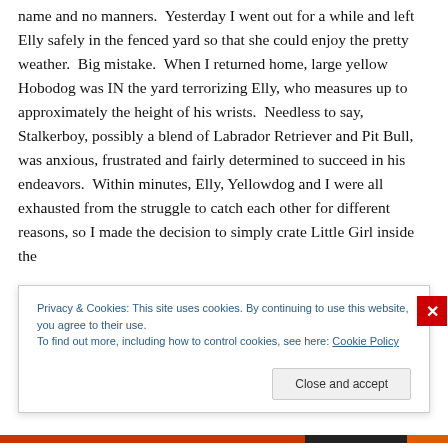name and no manners.  Yesterday I went out for a while and left Elly safely in the fenced yard so that she could enjoy the pretty weather.  Big mistake.  When I returned home, large yellow Hobodog was IN the yard terrorizing Elly, who measures up to approximately the height of his wrists.  Needless to say,  Stalkerboy, possibly a blend of Labrador Retriever and Pit Bull, was anxious, frustrated and fairly determined to succeed in his endeavors.  Within minutes, Elly, Yellowdog and I were all exhausted from the struggle to catch each other for different reasons, so I made the decision to simply crate Little Girl inside the
Privacy & Cookies: This site uses cookies. By continuing to use this website, you agree to their use.
To find out more, including how to control cookies, see here: Cookie Policy